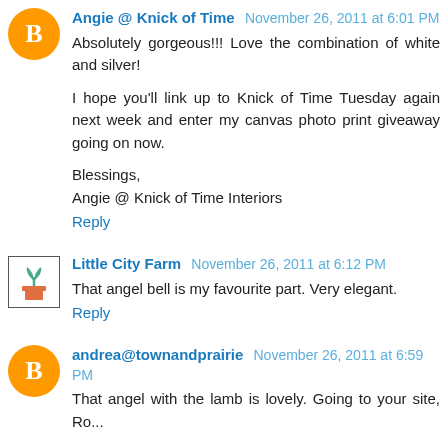Angie @ Knick of Time November 26, 2011 at 6:01 PM
Absolutely gorgeous!!! Love the combination of white and silver!

I hope you'll link up to Knick of Time Tuesday again next week and enter my canvas photo print giveaway going on now.

Blessings,
Angie @ Knick of Time Interiors
Reply
Little City Farm November 26, 2011 at 6:12 PM
That angel bell is my favourite part. Very elegant.
Reply
andrea@townandprairie November 26, 2011 at 6:59 PM
That angel with the lamb is lovely. Going to your site, Ro... [truncated]